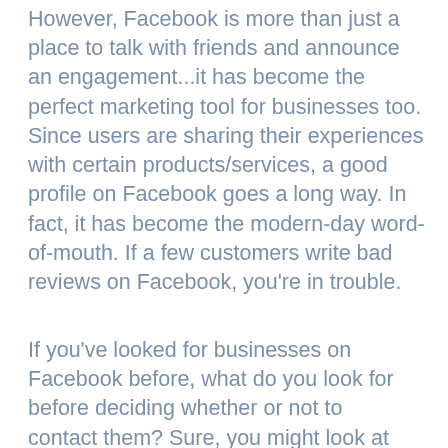However, Facebook is more than just a place to talk with friends and announce an engagement...it has become the perfect marketing tool for businesses too. Since users are sharing their experiences with certain products/services, a good profile on Facebook goes a long way. In fact, it has become the modern-day word-of-mouth. If a few customers write bad reviews on Facebook, you're in trouble.
If you've looked for businesses on Facebook before, what do you look for before deciding whether or not to contact them? Sure, you might look at location, reviews...
🍪 This website uses cookies to ensure you get the best experience.  Learn more
Ok